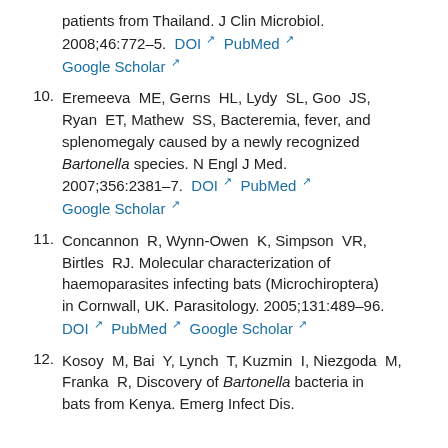patients from Thailand. J Clin Microbiol. 2008;46:772–5. DOI  PubMed  Google Scholar
10. Eremeeva ME, Gerns HL, Lydy SL, Goo JS, Ryan ET, Mathew SS, Bacteremia, fever, and splenomegaly caused by a newly recognized Bartonella species. N Engl J Med. 2007;356:2381–7. DOI  PubMed  Google Scholar
11. Concannon R, Wynn-Owen K, Simpson VR, Birtles RJ. Molecular characterization of haemoparasites infecting bats (Microchiroptera) in Cornwall, UK. Parasitology. 2005;131:489–96. DOI  PubMed  Google Scholar
12. Kosoy M, Bai Y, Lynch T, Kuzmin I, Niezgoda M, Franka R, Discovery of Bartonella bacteria in bats from Kenya. Emerg Infect Dis.